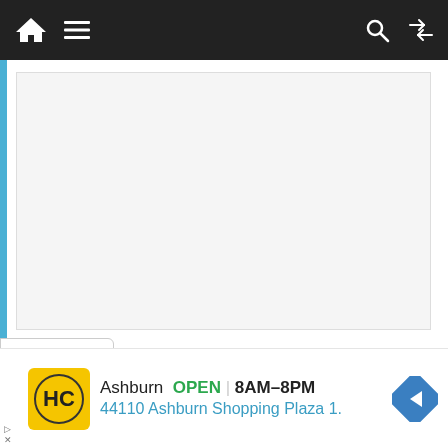[Figure (screenshot): Website navigation bar with home icon, hamburger menu, search icon, and shuffle icon on dark background]
[Figure (other): Empty/placeholder advertisement box with light gray background]
← Klevars.com Review: Is Klevars legit or a scam activity?
[Figure (other): Dropdown chevron button]
[Figure (other): Bottom advertisement: HC logo, Ashburn OPEN 8AM-8PM, 44110 Ashburn Shopping Plaza 1., navigation arrow icon]